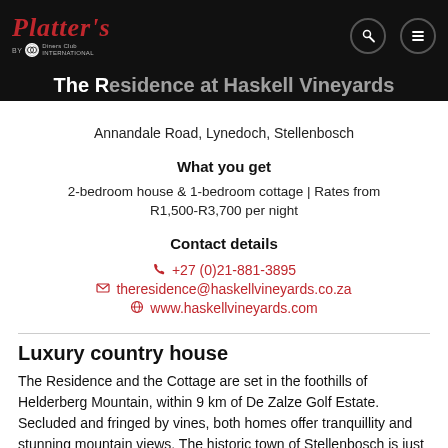Platter's by Diners Club International
The Residence at Haskell Vineyards
Annandale Road, Lynedoch, Stellenbosch
What you get
2-bedroom house & 1-bedroom cottage | Rates from R1,500-R3,700 per night
Contact details
+27 (0)21-881-3895
theresidence@haskellvineyards.co.za
www.haskellvineyards.com
Luxury country house
The Residence and the Cottage are set in the foothills of Helderberg Mountain, within 9 km of De Zalze Golf Estate. Secluded and fringed by vines, both homes offer tranquillity and stunning mountain views. The historic town of Stellenbosch is just a 15-minute drive distant, and the surrounding countryside offers nature lovers outstanding hiking and walking opportunities in a